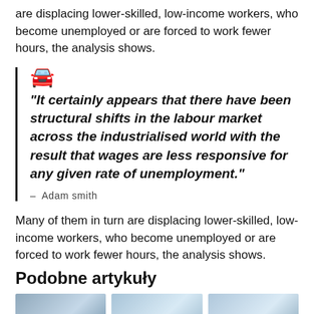are displacing lower-skilled, low-income workers, who become unemployed or are forced to work fewer hours, the analysis shows.
“It certainly appears that there have been structural shifts in the labour market across the industrialised world with the result that wages are less responsive for any given rate of unemployment.”
– Adam smith
Many of them in turn are displacing lower-skilled, low-income workers, who become unemployed or are forced to work fewer hours, the analysis shows.
Podobne artykuły
[Figure (photo): Three thumbnail images in a row at the bottom of the page]